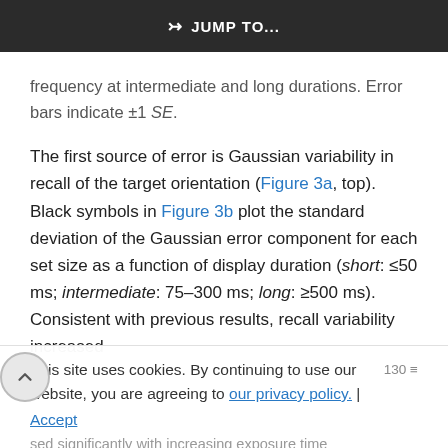JUMP TO...
frequency at intermediate and long durations. Error bars indicate ±1 SE.
The first source of error is Gaussian variability in recall of the target orientation (Figure 3a, top). Black symbols in Figure 3b plot the standard deviation of the Gaussian error component for each set size as a function of display duration (short: ≤50 ms; intermediate: 75–300 ms; long: ≥500 ms). Consistent with previous results, recall variability increased
This site uses cookies. By continuing to use our website, you are agreeing to our privacy policy. | Accept
decreased significantly with increasing exposure time